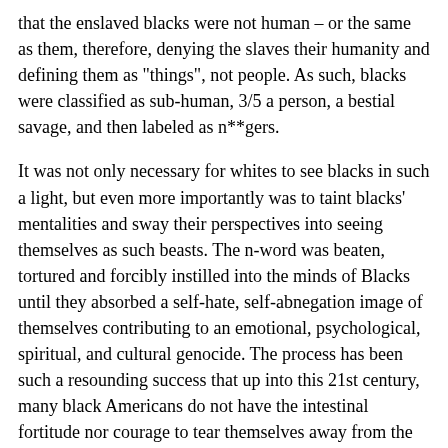that the enslaved blacks were not human – or the same as them, therefore, denying the slaves their humanity and defining them as "things", not people. As such, blacks were classified as sub-human, 3/5 a person, a bestial savage, and then labeled as n**gers.
It was not only necessary for whites to see blacks in such a light, but even more importantly was to taint blacks' mentalities and sway their perspectives into seeing themselves as such beasts. The n-word was beaten, tortured and forcibly instilled into the minds of Blacks until they absorbed a self-hate, self-abnegation image of themselves contributing to an emotional, psychological, spiritual, and cultural genocide. The process has been such a resounding success that up into this 21st century, many black Americans do not have the intestinal fortitude nor courage to tear themselves away from the word. One of the greatest powers in the world is the power to define reality and make others accept it, even when it's to their disadvantage. The mis-use of Christianity also plays a role in this line of thinking. The belief was that by viewing blacks